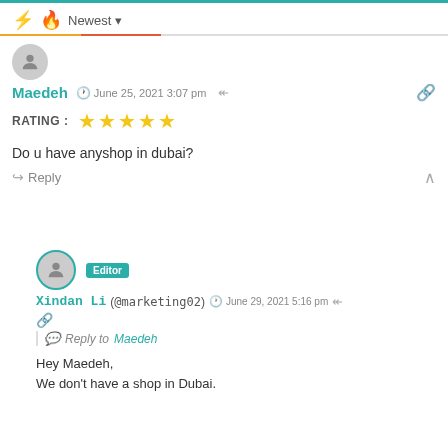Newest (filter dropdown)
[Figure (other): User avatar - gray circle with person silhouette]
Maedeh  June 25, 2021 3:07 pm
RATING : ★★★★★
Do u have anyshop in dubai?
Reply
[Figure (other): Editor user avatar - gray circle with teal border, Editor badge]
Xindan Li (@marketing02)  June 29, 2021 5:16 pm
Reply to Maedeh
Hey Maedeh,
We don't have a shop in Dubai.